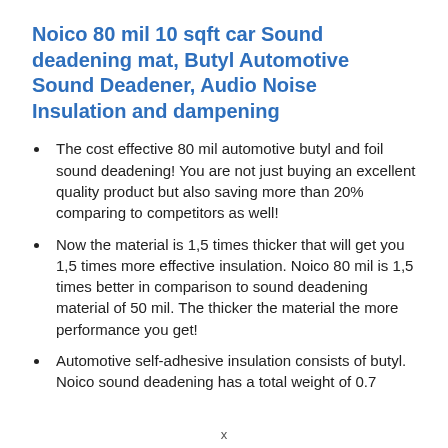Noico 80 mil 10 sqft car Sound deadening mat, Butyl Automotive Sound Deadener, Audio Noise Insulation and dampening
The cost effective 80 mil automotive butyl and foil sound deadening! You are not just buying an excellent quality product but also saving more than 20% comparing to competitors as well!
Now the material is 1,5 times thicker that will get you 1,5 times more effective insulation. Noico 80 mil is 1,5 times better in comparison to sound deadening material of 50 mil. The thicker the material the more performance you get!
Automotive self-adhesive insulation consists of butyl. Noico sound deadening has a total weight of 0.7